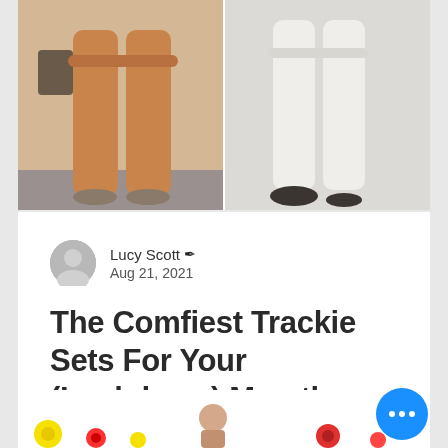[Figure (photo): Two photos side by side showing people wearing tracksuit/jogger pants. Left photo shows tan/brown joggers, right photo shows white joggers with dark shoes.]
Lucy Scott  Aug 21, 2021
The Comfiest Trackie Sets For Your (Lockdown) Marathon
The comfiest tracksuit sets around to get your through lockdown.
[Figure (photo): Bottom card preview showing colorful round items (yellow, red, and other colored balls) and a person.]